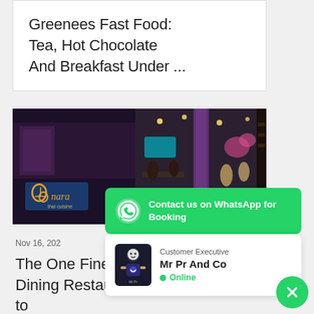Greenees Fast Food: Tea, Hot Chocolate And Breakfast Under ...
[Figure (photo): Interior photo of Nara Thai Cuisine restaurant with the Nara logo visible on the left and diners in the background on the right]
[Figure (infographic): WhatsApp contact banner with green background reading: Contact us on WhatsApp for Booking. Below is a customer executive panel showing Mr Pr And Co logo with Online status.]
Nov 16, 202
The One Fine - Dining Restaurant to